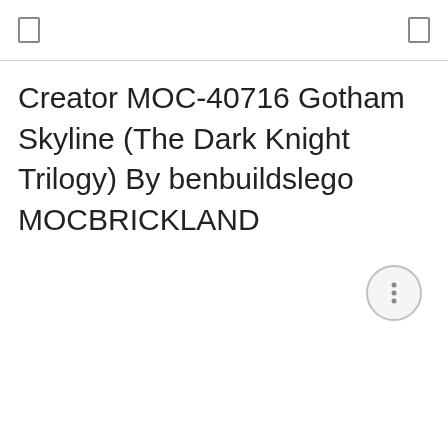Creator MOC-40716 Gotham Skyline (The Dark Knight Trilogy) By benbuildslego MOCBRICKLAND